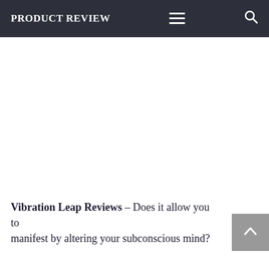PRODUCT REVIEW
Vibration Leap Reviews – Does it allow you to manifest by altering your subconscious mind?